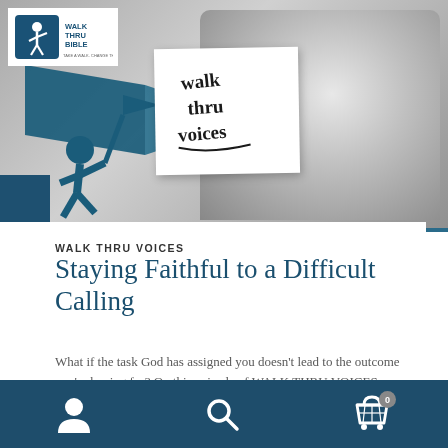[Figure (photo): Mobile app screenshot showing Walk Thru Bible podcast page. Top half has a black and white photo of a smiling middle-aged man, overlaid with a teal Walk Thru Bible logo (top left), a teal illustrated running figure holding a flag (center-left), and a handwritten-style sticky note reading 'walk thru voices'.]
WALK THRU VOICES
Staying Faithful to a Difficult Calling
What if the task God has assigned you doesn't lead to the outcome you're hoping for? On this episode of WALK THRU VOICES, Michael Gunnin takes us
[Figure (infographic): Bottom navigation bar with three icons: person/user icon (left), search/magnifying glass icon (center), shopping cart icon with badge showing 0 (right), on dark teal background.]